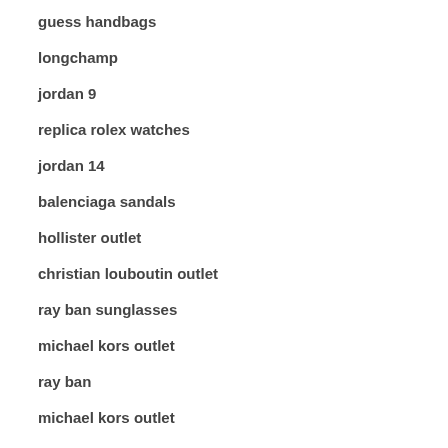guess handbags
longchamp
jordan 9
replica rolex watches
jordan 14
balenciaga sandals
hollister outlet
christian louboutin outlet
ray ban sunglasses
michael kors outlet
ray ban
michael kors outlet